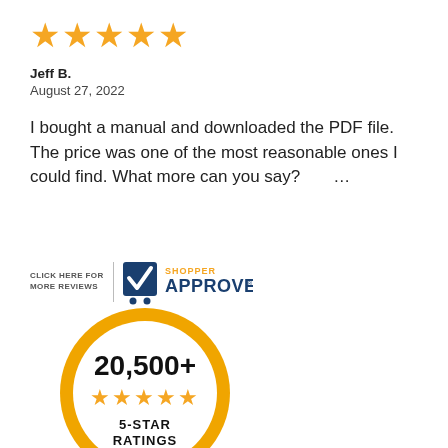[Figure (other): Five orange star rating icons]
Jeff B.
August 27, 2022
I bought a manual and downloaded the PDF file. The price was one of the most reasonable ones I could find. What more can you say?        ...
[Figure (logo): Shopper Approved badge with text CLICK HERE FOR MORE REVIEWS]
[Figure (logo): Shopper Approved seal: 20,500+ five-star ratings badge with gold ring and black ribbon footer]